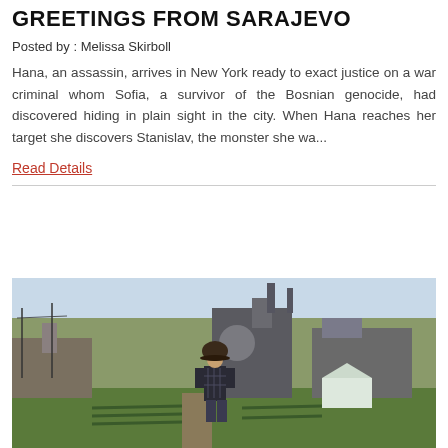GREETINGS FROM SARAJEVO
Posted by : Melissa Skirboll
Hana, an assassin, arrives in New York ready to exact justice on a war criminal whom Sofia, a survivor of the Bosnian genocide, had discovered hiding in plain sight in the city. When Hana reaches her target she discovers Stanislav, the monster she wa...
Read Details
[Figure (photo): A man wearing a plaid shirt and wide-brimmed hat stands in an urban farm or garden plot, with industrial buildings and smokestacks visible in the background.]